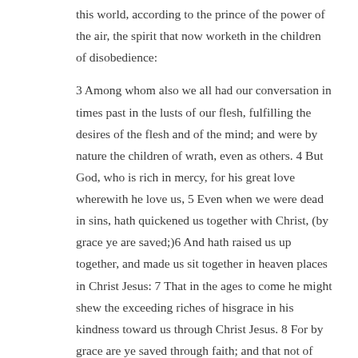this world, according to the prince of the power of the air, the spirit that now worketh in the children of disobedience:
3 Among whom also we all had our conversation in times past in the lusts of our flesh, fulfilling the desires of the flesh and of the mind; and were by nature the children of wrath, even as others. 4 But God, who is rich in mercy, for his great love wherewith he love us, 5 Even when we were dead in sins, hath quickened us together with Christ, (by grace ye are saved;)6 And hath raised us up together, and made us sit together in heaven places in Christ Jesus: 7 That in the ages to come he might shew the exceeding riches of hisgrace in his kindness toward us through Christ Jesus. 8 For by grace are ye saved through faith; and that not of yourselves: it is the gift of God: 9 Not of works, lest any man should boast. 10 For we are his workmanship, created in Christ Jesus unto good works, which God hath before ordained that we should walk in them.